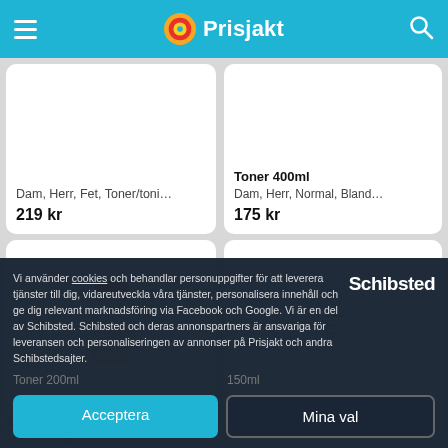Prisjakt
Dam, Herr, Fet, Toner/toni...
219 kr
Toner 400ml
Dam, Herr, Normal, Bland...
175 kr
[Figure (photo): Orange-capped clear toner bottle]
[Figure (photo): White cylindrical skincare bottle]
Vi använder cookies och behandlar personuppgifter för att leverera tjänster till dig, vidareutveckla våra tjänster, personalisera innehåll och ge dig relevant marknadsföring via Facebook och Google. Vi är en del av Schibsted. Schibsted och deras annonspartners är ansvariga för leveransen och personaliseringen av annonser på Prisjakt och andra Schibstedsajter.
Schibsted
Toner 200ml
150ml
Dam, Herr, Normal, Jore...
Acceptera
Mina val